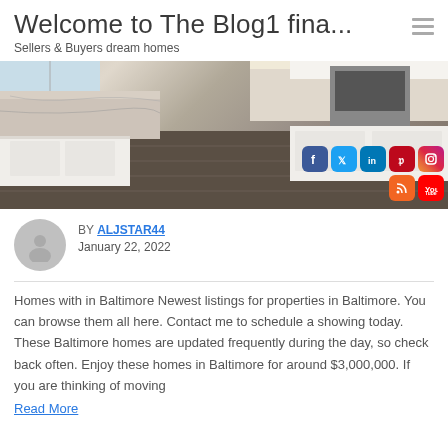Welcome to The Blog1 fina...
Sellers & Buyers dream homes
[Figure (photo): Kitchen interior with white cabinets, granite countertops, dark wood floor, and social media icons overlay (Facebook, Twitter, LinkedIn, Pinterest, Instagram, RSS, YouTube)]
BY ALJSTAR44
January 22, 2022
Homes with in Baltimore Newest listings for properties in Baltimore. You can browse them all here. Contact me to schedule a showing today. These Baltimore homes are updated frequently during the day, so check back often. Enjoy these homes in Baltimore for around $3,000,000. If you are thinking of moving
Read More